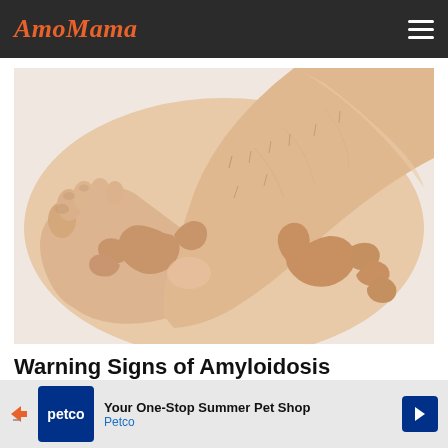AmoMama
[Figure (photo): Close-up photo of a person's foot and ankle area with hands pressing/squeezing the ankle, on a white background, illustrating swelling or edema associated with amyloidosis.]
Warning Signs of Amyloidosis Shouldn't Be Ignored
Your One-Stop Summer Pet Shop Petco